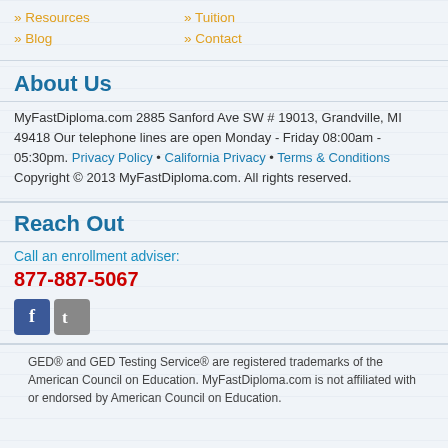» Resources
» Tuition
» Blog
» Contact
About Us
MyFastDiploma.com 2885 Sanford Ave SW # 19013, Grandville, MI 49418 Our telephone lines are open Monday - Friday 08:00am - 05:30pm. Privacy Policy • California Privacy • Terms & Conditions Copyright © 2013 MyFastDiploma.com. All rights reserved.
Reach Out
Call an enrollment adviser:
877-887-5067
[Figure (illustration): Facebook and Twitter social media icon buttons]
GED® and GED Testing Service® are registered trademarks of the American Council on Education. MyFastDiploma.com is not affiliated with or endorsed by American Council on Education.